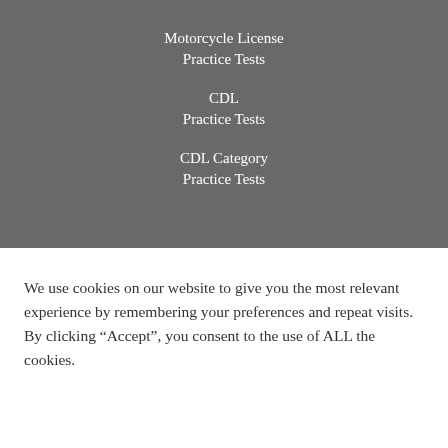Motorcycle License
Practice Tests
CDL
Practice Tests
CDL Category
Practice Tests
We use cookies on our website to give you the most relevant experience by remembering your preferences and repeat visits. By clicking “Accept”, you consent to the use of ALL the cookies.